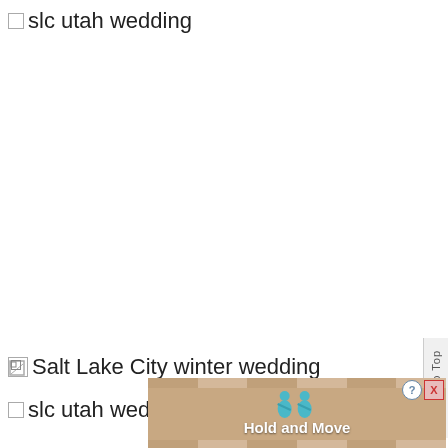slc utah wedding
[Figure (screenshot): Broken image placeholder with alt text 'Salt Lake City winter wedding']
slc utah wedding
[Figure (screenshot): Ad banner: Hold and Move app advertisement with teal figures icon and close button (? X), tan/sandy striped background]
Scroll To Top